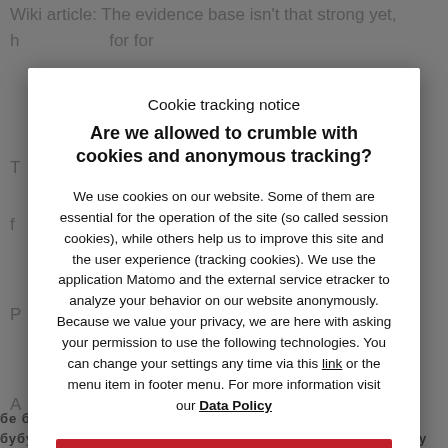Wiki article: The evidence base isn't that strong yet, h... ... ... for for ...
Cookie tracking notice
Are we allowed to crumble with cookies and anonymous tracking?
We use cookies on our website. Some of them are essential for the operation of the site (so called session cookies), while others help us to improve this site and the user experience (tracking cookies). We use the application Matomo and the external service etracker to analyze your behavior on our website anonymously. Because we value your privacy, we are here with asking your permission to use the following technologies. You can change your settings any time via this link or the menu item in footer menu. For more information visit our Data Policy
YES – I agree to tracking cookies.
No thanks – I agree to session cookies